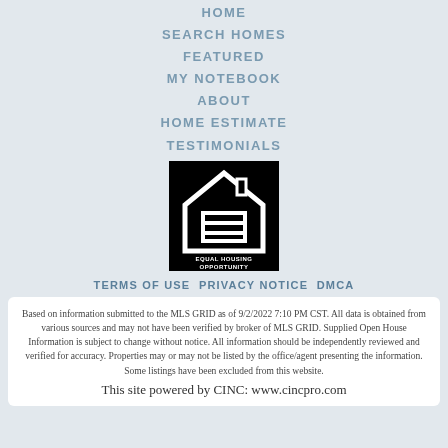HOME
SEARCH HOMES
FEATURED
MY NOTEBOOK
ABOUT
HOME ESTIMATE
TESTIMONIALS
[Figure (logo): Equal Housing Opportunity logo — black square with white house outline and equal sign, text reads EQUAL HOUSING OPPORTUNITY]
TERMS OF USE  PRIVACY NOTICE  DMCA
Based on information submitted to the MLS GRID as of 9/2/2022 7:10 PM CST. All data is obtained from various sources and may not have been verified by broker of MLS GRID. Supplied Open House Information is subject to change without notice. All information should be independently reviewed and verified for accuracy. Properties may or may not be listed by the office/agent presenting the information. Some listings have been excluded from this website.
This site powered by CINC: www.cincpro.com